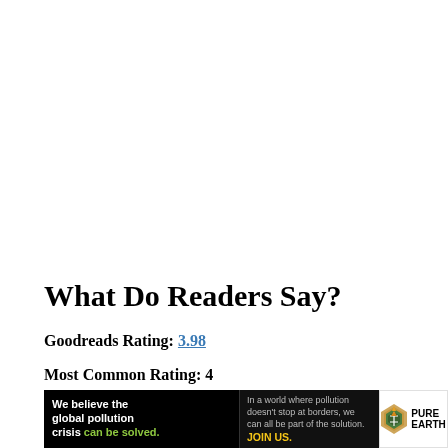What Do Readers Say?
Goodreads Rating: 3.98
Most Common Rating: 4
[Figure (other): Pure Earth advertisement banner. Black background on left with bold white text 'We believe the global pollution crisis can be solved.' with 'can be solved.' in green/yellow. Middle section with smaller text 'In a world where pollution doesn't stop at borders, we can all be part of the solution.' and 'JOIN US.' in yellow. Right section shows the Pure Earth logo (diamond shape with shovel icon) and text 'PURE EARTH'.]